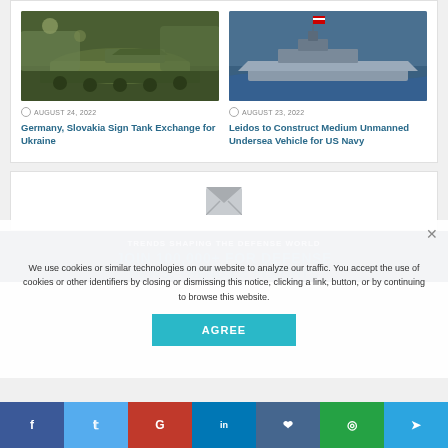[Figure (photo): Camouflaged tank with soldiers in ghillie suits in a forest setting]
AUGUST 24, 2022
Germany, Slovakia Sign Tank Exchange for Ukraine
[Figure (photo): US Navy ship sailing on open ocean with American flag]
AUGUST 23, 2022
Leidos to Construct Medium Unmanned Undersea Vehicle for US Navy
[Figure (other): Mail/envelope icon for newsletter subscription]
TRENDS SHAPING THE DEFENSE WORLD
JOIN 100,000+ FOR DEFENSE NEWS, TRENDS & INSIGHTS
We use cookies or similar technologies on our website to analyze our traffic. You accept the use of cookies or other identifiers by closing or dismissing this notice, clicking a link, button, or by continuing to browse this website.
AGREE